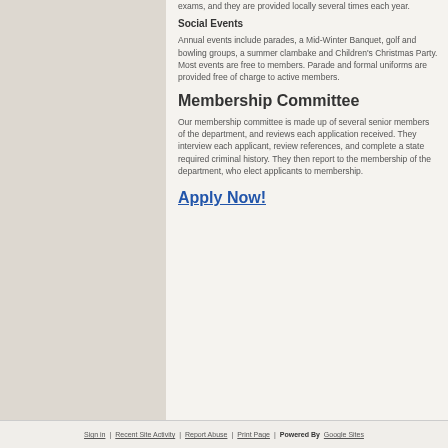exams, and they are provided locally several times each year.
Social Events
Annual events include parades, a Mid-Winter Banquet, golf and bowling groups, a summer clambake and Children's Christmas Party. Most events are free to members. Parade and formal uniforms are provided free of charge to active members.
Membership Committee
Our membership committee is made up of several senior members of the department, and reviews each application received. They interview each applicant, review references, and complete a state required criminal history. They then report to the membership of the department, who elect applicants to membership.
Apply Now!
Sign in | Recent Site Activity | Report Abuse | Print Page | Powered By Google Sites